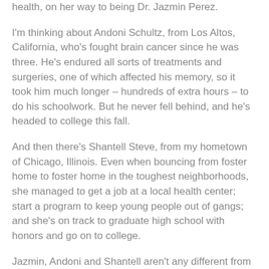health, on her way to being Dr. Jazmin Perez.
I'm thinking about Andoni Schultz, from Los Altos, California, who's fought brain cancer since he was three. He's endured all sorts of treatments and surgeries, one of which affected his memory, so it took him much longer – hundreds of extra hours – to do his schoolwork. But he never fell behind, and he's headed to college this fall.
And then there's Shantell Steve, from my hometown of Chicago, Illinois. Even when bouncing from foster home to foster home in the toughest neighborhoods, she managed to get a job at a local health center; start a program to keep young people out of gangs; and she's on track to graduate high school with honors and go on to college.
Jazmin, Andoni and Shantell aren't any different from any of you. They faced challenges in their lives just like you do. But they refused to give up. They chose to take responsibility for their